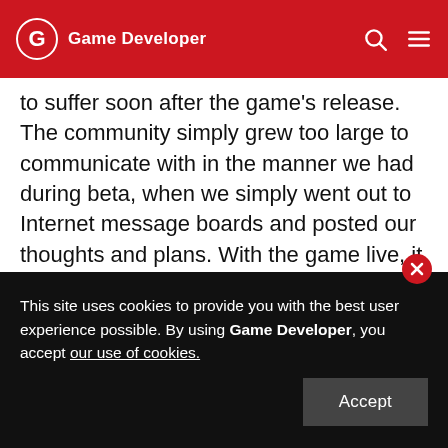Game Developer
to suffer soon after the game's release. The community simply grew too large to communicate with in the manner we had during beta, when we simply went out to Internet message boards and posted our thoughts and plans. With the game live, it was obvious we needed a much more coherent way to communicate with our fans, one that would not send them to numerous different fan sites to sift through literally thousands of messages.
This situation grew into a big problem when players
This site uses cookies to provide you with the best user experience possible. By using Game Developer, you accept our use of cookies.